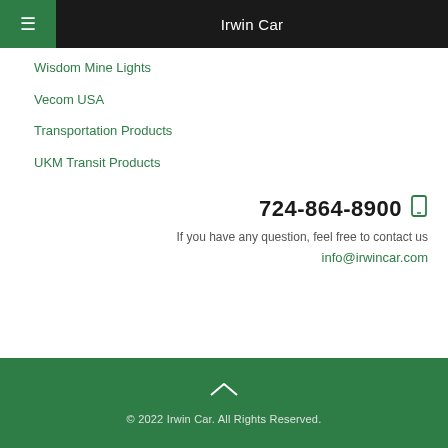Irwin Car
Wisdom Mine Lights
Vecom USA
Transportation Products
UKM Transit Products
724-864-8900
If you have any question, feel free to contact us
info@irwincar.com
© 2022 Irwin Car. All Rights Reserved.